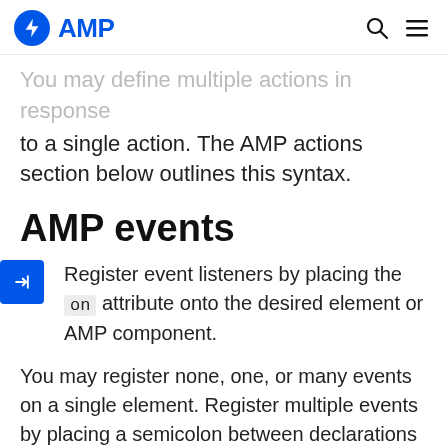AMP
You may define multiple actions in response to a single action. The AMP actions section below outlines this syntax.
AMP events
Register event listeners by placing the `on` attribute onto the desired element or AMP component.
You may register none, one, or many events on a single element. Register multiple events by placing a semicolon between declarations within the `on` attribute's value. The example below listens for the `tap` event and the input-specific `change` event to show and hide the `hidden` `<p>` element.